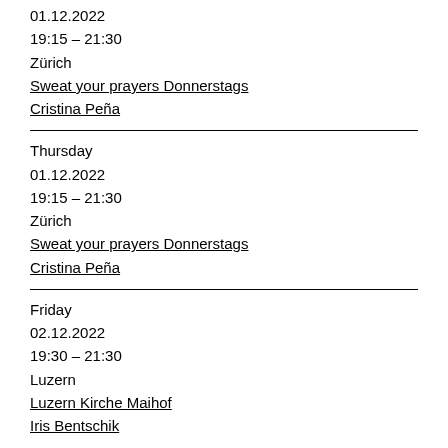01.12.2022
19:15 – 21:30
Zürich
Sweat your prayers Donnerstags
Cristina Peña
Thursday
01.12.2022
19:15 – 21:30
Zürich
Sweat your prayers Donnerstags
Cristina Peña
Friday
02.12.2022
19:30 – 21:30
Luzern
Luzern Kirche Maihof
Iris Bentschik